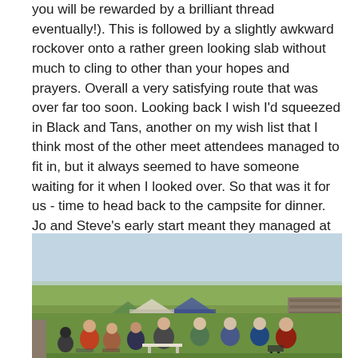you will be rewarded by a brilliant thread eventually!). This is followed by a slightly awkward rockover onto a rather green looking slab without much to cling to other than your hopes and prayers. Overall a very satisfying route that was over far too soon. Looking back I wish I'd squeezed in Black and Tans, another on my wish list that I think most of the other meet attendees managed to fit in, but it always seemed to have someone waiting for it when I looked over. So that was it for us - time to head back to the campsite for dinner. Jo and Steve's early start meant they managed at least 6 routes to our 3 that day and definitely earned their chippy tea; mine was less-well earned but just as much enjoyed.
[Figure (photo): Group of people sitting in camp chairs outdoors on a grassy field with tents in the background, stone wall to the right, open moorland visible in the distance under a clear sky.]